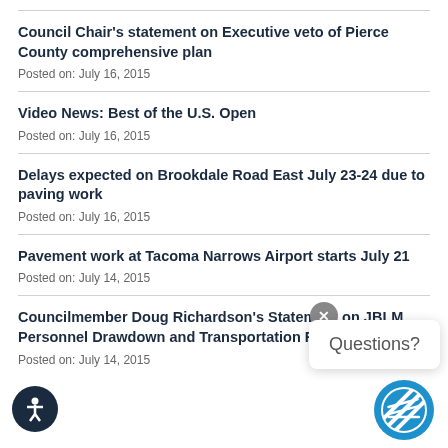Council Chair’s statement on Executive veto of Pierce County comprehensive plan
Posted on: July 16, 2015
Video News: Best of the U.S. Open
Posted on: July 16, 2015
Delays expected on Brookdale Road East July 23-24 due to paving work
Posted on: July 16, 2015
Pavement work at Tacoma Narrows Airport starts July 21
Posted on: July 14, 2015
Councilmember Doug Richardson’s Statement on JBLM Personnel Drawdown and Transportation Funding
Posted on: July 14, 2015